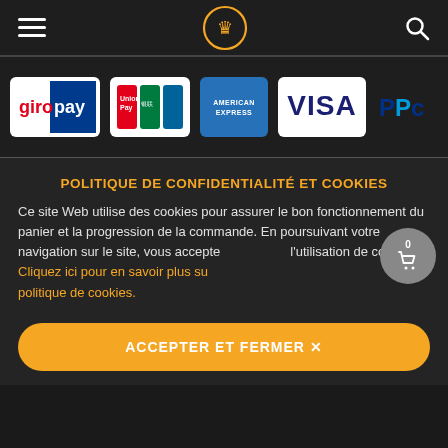Navigation bar with hamburger menu, crown logo, and search icon
[Figure (logo): Payment method logos: Giropay, UnionPay, American Express, VISA, PayPal]
POLITIQUE DE CONFIDENTIALITÉ ET COOKIES
Ce site Web utilise des cookies pour assurer le bon fonctionnement du panier et la progression de la commande. En poursuivant votre navigation sur le site, vous acceptez l'utilisation de cookies. Cliquez ici pour en savoir plus sur notre politique de cookies.
ACCEPTER ET FERMER ✕